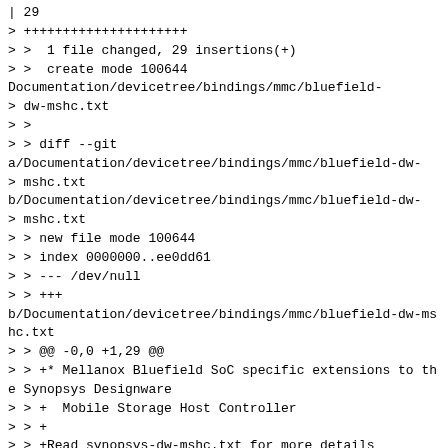| 29
> +++++++++++++++++++++
> >  1 file changed, 29 insertions(+)
> >  create mode 100644 Documentation/devicetree/bindings/mmc/bluefield-
> dw-mshc.txt
> >
> > diff --git a/Documentation/devicetree/bindings/mmc/bluefield-dw-
> mshc.txt b/Documentation/devicetree/bindings/mmc/bluefield-dw-
> mshc.txt
> > new file mode 100644
> > index 0000000..ee0dd61
> > --- /dev/null
> > +++
b/Documentation/devicetree/bindings/mmc/bluefield-dw-mshc.txt
> > @@ -0,0 +1,29 @@
> > +* Mellanox Bluefield SoC specific extensions to the Synopsys Designware
> > +  Mobile Storage Host Controller
> > +
> > +Read synopsys-dw-mshc.txt for more details
> > +
> > +The Synopsys designware mobile storage host controller is used to
> interface
> > +a SoC with storage medium such as eMMC or SD/MMC cards. This file